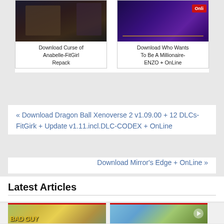[Figure (screenshot): Two game/software thumbnail cards: left shows 'Curse of Anabelle' dark fantasy image, right shows 'Who Wants To Be A Millionaire' colorful game show image with 'Online' text]
Download Curse of Anabelle-FitGirl Repack
Download Who Wants To Be A Millionaire-ENZO + OnLine
« Download Dragon Ball Xenoverse 2 v1.09.00 + 12 DLCs-FitGirk + Update v1.11.incl.DLC-CODEX + OnLine
Download Mirror's Edge + OnLine »
Latest Articles
[Figure (screenshot): Two game thumbnail images at bottom: left shows Bad Guy game with character and colorful logo, right shows action game with soldiers/military scene]